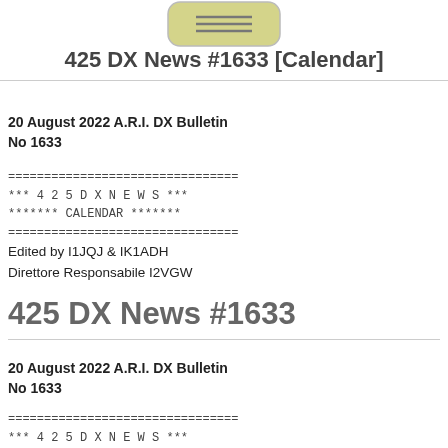[Figure (illustration): Rounded rectangle icon with horizontal lines, yellow-green fill, positioned at top center]
425 DX News #1633 [Calendar]
20 August 2022 A.R.I. DX Bulletin
No 1633
================================
*** 4 2 5 D X N E W S ***
******* CALENDAR *******
================================
Edited by I1JQJ & IK1ADH
Direttore Responsabile I2VGW
425 DX News #1633
20 August 2022 A.R.I. DX Bulletin
No 1633
================================
*** 4 2 5 D X N E W S ***
**** DX INFORMATION ****